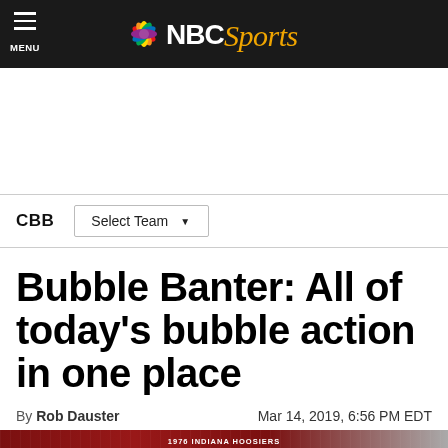NBC Sports
CBB   Select Team
Bubble Banter: All of today's bubble action in one place
By Rob Dauster   Mar 14, 2019, 6:56 PM EDT
[Figure (photo): Red banner photo at bottom of article page, partially visible, showing Indiana Hoosiers banner text and a crowd in the background]